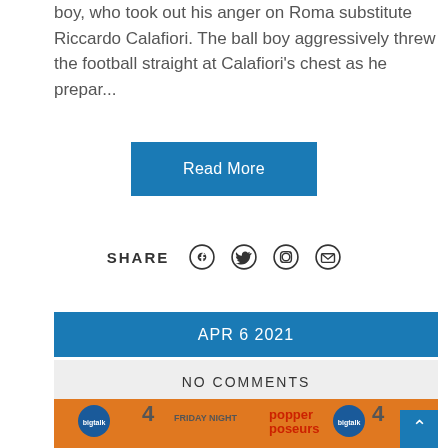boy, who took out his anger on Roma substitute Riccardo Calafiori. The ball boy aggressively threw the football straight at Calafiori's chest as he prepar...
Read More
SHARE
APR 6 2021
NO COMMENTS
[Figure (photo): Group photo of four people standing in front of an orange backdrop with Channel 4, bigtalk, Friday Night, and Popper Poseurs logos. Two men on left wearing glasses, one in silver jacket, one in casual clothes with beard, and a blonde woman in pink/magenta jacket on the right.]